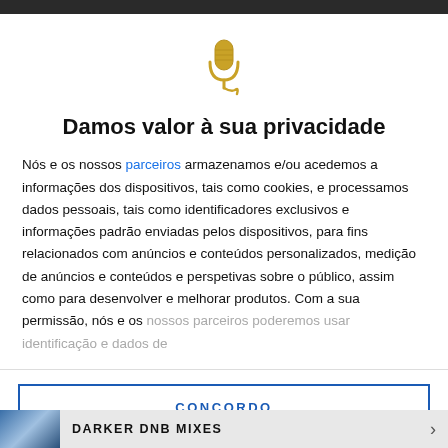[Figure (illustration): Golden microphone icon with decorative swirl at the base]
Damos valor à sua privacidade
Nós e os nossos parceiros armazenamos e/ou acedemos a informações dos dispositivos, tais como cookies, e processamos dados pessoais, tais como identificadores exclusivos e informações padrão enviadas pelos dispositivos, para fins relacionados com anúncios e conteúdos personalizados, medição de anúncios e conteúdos e perspetivas sobre o público, assim como para desenvolver e melhorar produtos. Com a sua permissão, nós e os nossos parceiros poderemos usar identificação e dados de
CONCORDO
MAIS OPÇÕES
DARKER DNB MIXES